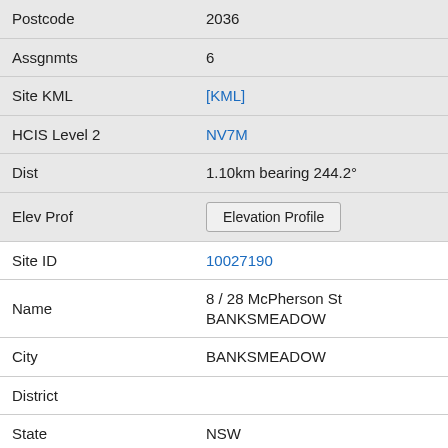| Field | Value |
| --- | --- |
| Postcode | 2036 |
| Assgnmts | 6 |
| Site KML | [KML] |
| HCIS Level 2 | NV7M |
| Dist | 1.10km bearing 244.2° |
| Elev Prof | Elevation Profile |
| Site ID | 10027190 |
| Name | 8 / 28 McPherson St BANKSMEADOW |
| City | BANKSMEADOW |
| District |  |
| State | NSW |
| Postcode |  |
| Assgnmts | 2 |
| Site KML | [KML] |
| HCIS Level 2 | NV7M |
| Dist | 1.10km bearing 264.7° |
| Elev Prof | Elevation Profile |